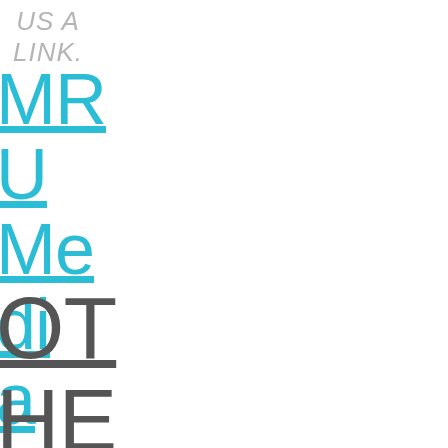US A LINK.
MRU Media Makers: 05/03/2017
OTHER NO STAR